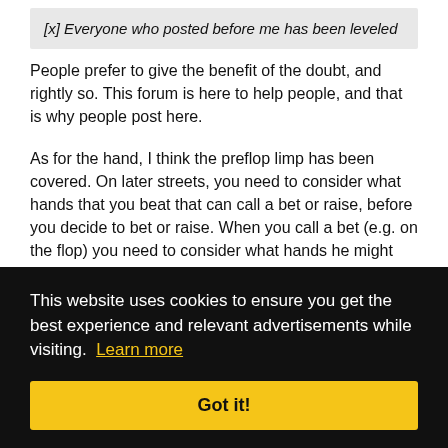[x] Everyone who posted before me has been leveled
People prefer to give the benefit of the doubt, and rightly so. This forum is here to help people, and that is why people post here.
As for the hand, I think the preflop limp has been covered. On later streets, you need to consider what hands that you beat that can call a bet or raise, before you decide to bet or raise. When you call a bet (e.g. on the flop) you need to consider what hands he might hold that you beat given the previous action - he has three bet preflop and then bet into ...and.
This website uses cookies to ensure you get the best experience and relevant advertisements while visiting. Learn more
Got it!
Quote